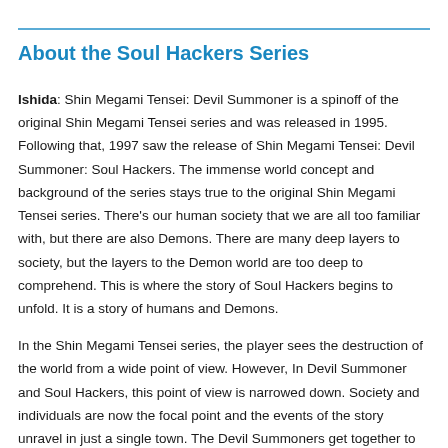About the Soul Hackers Series
Ishida: Shin Megami Tensei: Devil Summoner is a spinoff of the original Shin Megami Tensei series and was released in 1995. Following that, 1997 saw the release of Shin Megami Tensei: Devil Summoner: Soul Hackers. The immense world concept and background of the series stays true to the original Shin Megami Tensei series. There’s our human society that we are all too familiar with, but there are also Demons. There are many deep layers to society, but the layers to the Demon world are too deep to comprehend. This is where the story of Soul Hackers begins to unfold. It is a story of humans and Demons.
In the Shin Megami Tensei series, the player sees the destruction of the world from a wide point of view. However, In Devil Summoner and Soul Hackers, this point of view is narrowed down. Society and individuals are now the focal point and the events of the story unravel in just a single town. The Devil Summoners get together to rescue the town, playing the